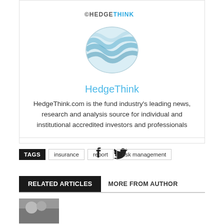[Figure (logo): HedgeThink logo — a globe-like elliptical shape with flowing blue/grey wave lines and the text 'HEDGETHINK' above it]
HedgeThink
HedgeThink.com is the fund industry's leading news, research and analysis source for individual and institutional accredited investors and professionals
[Figure (illustration): Social media icons: Facebook (f) and Twitter (bird) icons in a row]
TAGS  insurance  report  risk management
RELATED ARTICLES  MORE FROM AUTHOR
[Figure (photo): Thumbnail image strip at bottom of page]